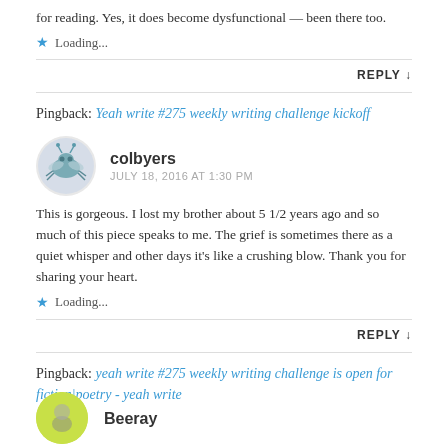for reading. Yes, it does become dysfunctional — been there too.
Loading...
REPLY ↓
Pingback: Yeah write #275 weekly writing challenge kickoff
colbyers
JULY 18, 2016 AT 1:30 PM
This is gorgeous. I lost my brother about 5 1/2 years ago and so much of this piece speaks to me. The grief is sometimes there as a quiet whisper and other days it's like a crushing blow. Thank you for sharing your heart.
Loading...
REPLY ↓
Pingback: yeah write #275 weekly writing challenge is open for fiction|poetry - yeah write
Beeray